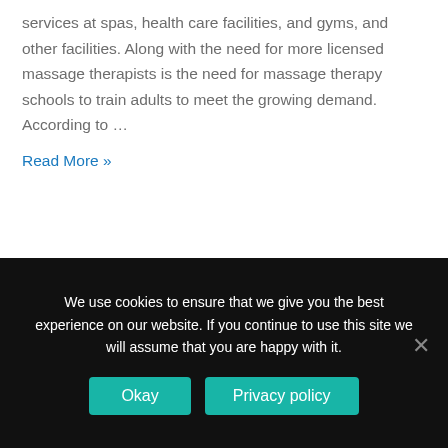services at spas, health care facilities, and gyms, and other facilities. Along with the need for more licensed massage therapists is the need for massage therapy schools to train adults to meet the growing demand. According to …
Read More »
We use cookies to ensure that we give you the best experience on our website. If you continue to use this site we will assume that you are happy with it.
Okay
Privacy policy